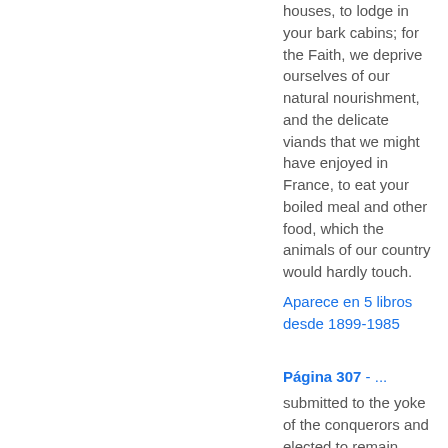houses, to lodge in your bark cabins; for the Faith, we deprive ourselves of our natural nourishment, and the delicate viands that we might have enjoyed in France, to eat your boiled meal and other food, which the animals of our country would hardly touch.
Aparece en 5 libros desde 1899-1985
Página 307 - ...
submitted to the yoke of the conquerors and elected to remain among them, have become heads of families after the deaths of their Masters, or have